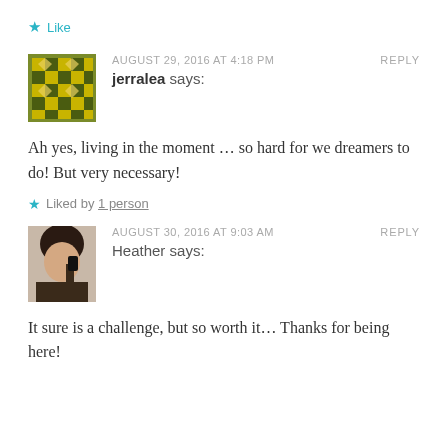★ Like
AUGUST 29, 2016 AT 4:18 PM    REPLY
jerralea says:
Ah yes, living in the moment … so hard for we dreamers to do! But very necessary!
★ Liked by 1 person
AUGUST 30, 2016 AT 9:03 AM    REPLY
Heather says:
It sure is a challenge, but so worth it… Thanks for being here!